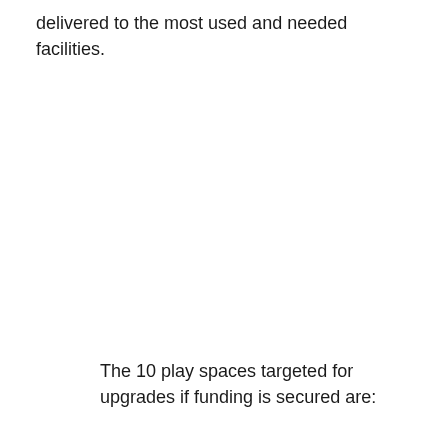delivered to the most used and needed facilities.
The 10 play spaces targeted for upgrades if funding is secured are: